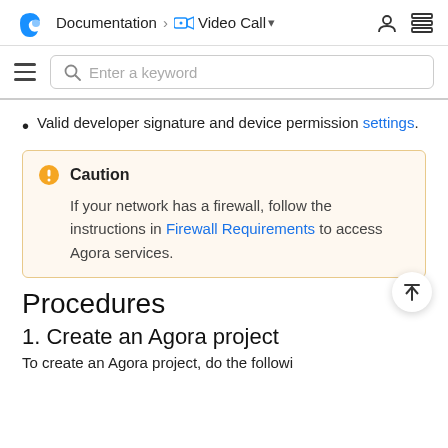Documentation > Video Call
Valid developer signature and device permission settings.
Caution
If your network has a firewall, follow the instructions in Firewall Requirements to access Agora services.
Procedures
1. Create an Agora project
To create an Agora project, do the followi...